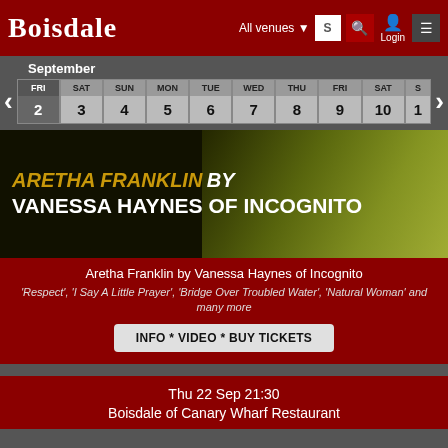BOISDALE  All venues  S  Login
September
| FRI | SAT | SUN | MON | TUE | WED | THU | FRI | SAT | SUN |
| --- | --- | --- | --- | --- | --- | --- | --- | --- | --- |
| 2 | 3 | 4 | 5 | 6 | 7 | 8 | 9 | 10 | 11 |
[Figure (photo): Event promotional image for Aretha Franklin by Vanessa Haynes of Incognito, showing gold and white bold italic text overlay on a dark background with a partial figure in olive/yellow tones]
Aretha Franklin by Vanessa Haynes of Incognito
'Respect', 'I Say A Little Prayer', 'Bridge Over Troubled Water', 'Natural Woman' and many more
INFO * VIDEO * BUY TICKETS
Thu 22 Sep 21:30
Boisdale of Canary Wharf Restaurant